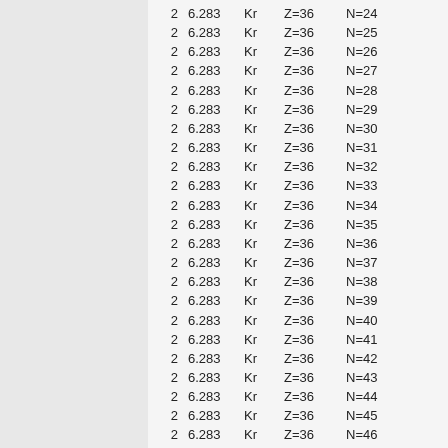|  |  |  |  |  |
| --- | --- | --- | --- | --- |
| 2 | 6.283 | Kr | Z=36 | N=24 |
| 2 | 6.283 | Kr | Z=36 | N=25 |
| 2 | 6.283 | Kr | Z=36 | N=26 |
| 2 | 6.283 | Kr | Z=36 | N=27 |
| 2 | 6.283 | Kr | Z=36 | N=28 |
| 2 | 6.283 | Kr | Z=36 | N=29 |
| 2 | 6.283 | Kr | Z=36 | N=30 |
| 2 | 6.283 | Kr | Z=36 | N=31 |
| 2 | 6.283 | Kr | Z=36 | N=32 |
| 2 | 6.283 | Kr | Z=36 | N=33 |
| 2 | 6.283 | Kr | Z=36 | N=34 |
| 2 | 6.283 | Kr | Z=36 | N=35 |
| 2 | 6.283 | Kr | Z=36 | N=36 |
| 2 | 6.283 | Kr | Z=36 | N=37 |
| 2 | 6.283 | Kr | Z=36 | N=38 |
| 2 | 6.283 | Kr | Z=36 | N=39 |
| 2 | 6.283 | Kr | Z=36 | N=40 |
| 2 | 6.283 | Kr | Z=36 | N=41 |
| 2 | 6.283 | Kr | Z=36 | N=42 |
| 2 | 6.283 | Kr | Z=36 | N=43 |
| 2 | 6.283 | Kr | Z=36 | N=44 |
| 2 | 6.283 | Kr | Z=36 | N=45 |
| 2 | 6.283 | Kr | Z=36 | N=46 |
| 2 | 6.283 | Kr | Z=36 | N=47 |
| 2 | 6.283 | Kr | Z=36 | N=48 |